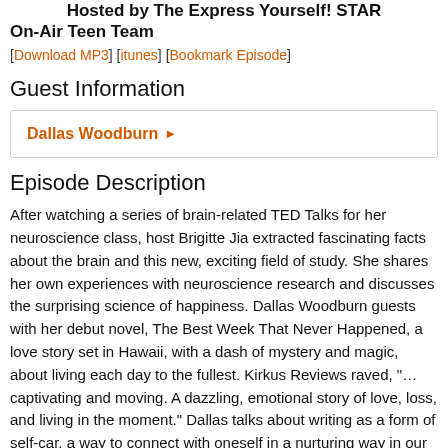Hosted by The Express Yourself! STAR On-Air Teen Team
[Download MP3] [itunes] [Bookmark Episode]
Guest Information
Dallas Woodburn ▶
Episode Description
After watching a series of brain-related TED Talks for her neuroscience class, host Brigitte Jia extracted fascinating facts about the brain and this new, exciting field of study. She shares her own experiences with neuroscience research and discusses the surprising science of happiness. Dallas Woodburn guests with her debut novel, The Best Week That Never Happened, a love story set in Hawaii, with a dash of mystery and magic, about living each day to the fullest. Kirkus Reviews raved, "… captivating and moving. A dazzling, emotional story of love, loss, and living in the moment." Dallas talks about writing as a form of self-car, a way to connect with oneself in a nurturing way in our chaotic